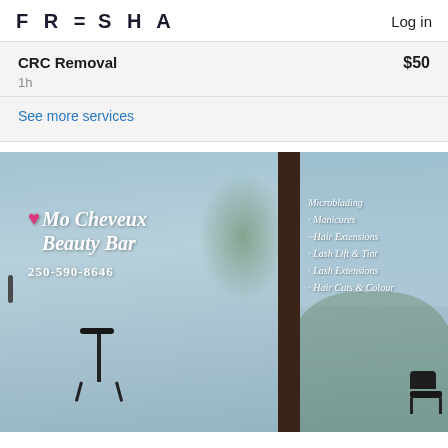FRESHA   Log in
CRC Removal   $50
1h
See more services
[Figure (photo): Storefront photo of Mo Cheveux Beauty Bar showing glass doors with white script lettering. Left panel shows salon name 'Mo Cheveux Beauty Bar' with phone number 250-590-8646 and a barber stool visible inside. Right panel lists services: Microblading, Manicures, Hair Extensions, Lash Lift & Tint, Lash Extensions, Hair Cuts & Colour.]